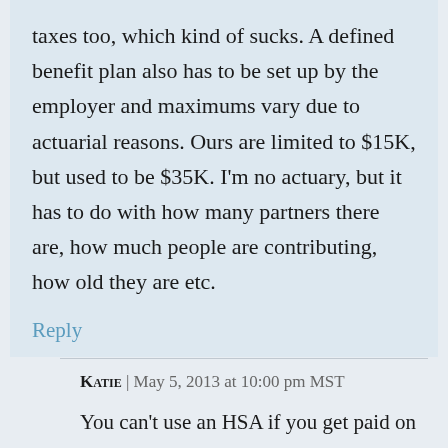taxes too, which kind of sucks. A defined benefit plan also has to be set up by the employer and maximums vary due to actuarial reasons. Ours are limited to $15K, but used to be $35K. I'm no actuary, but it has to do with how many partners there are, how much people are contributing, how old they are etc.
Reply
Katie | May 5, 2013 at 10:00 pm MST
You can't use an HSA if you get paid on a W-2? My husband gets paid on a W-2, and